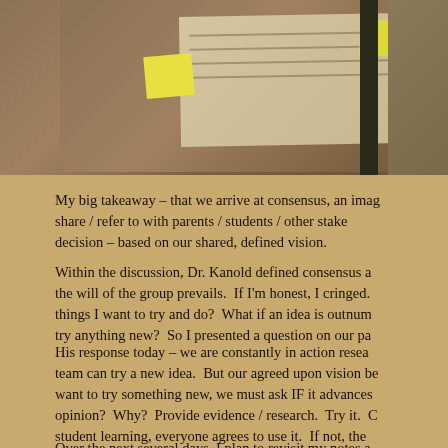[Figure (photo): Photo of a bulletin board with sticky notes and paper cards pinned to it, partially cropped. A dark vertical bar and partial right-side photo are visible.]
My big takeaway – that we arrive at consensus, an image / share / refer to with parents / students / other stake decision – based on our shared, defined vision.
Within the discussion, Dr. Kanold defined consensus a the will of the group prevails. If I'm honest, I cringed. things I want to try and do? What if an idea is outnum try anything new? So I presented a question on our pa
His response today – we are constantly in action resea team can try a new idea. But our agreed upon vision be want to try something new, we must ask IF it advances opinion? Why? Provide evidence / research. Try it. C student learning, everyone agrees to use it. If not, the end, I (we) have to sacrifice my opinion(s) in an effort t
Over the next several days, I plan to revisit my notes a process / plan considering these big ideas from the pa